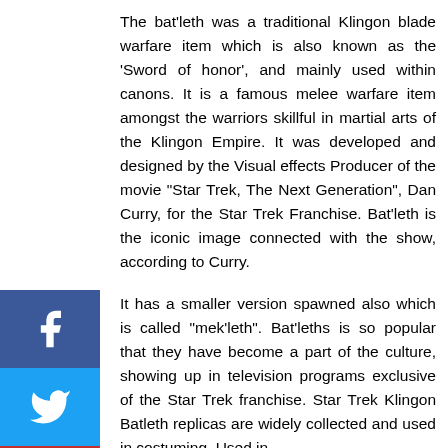The bat'leth was a traditional Klingon blade warfare item which is also known as the 'Sword of honor', and mainly used within canons. It is a famous melee warfare item amongst the warriors skillful in martial arts of the Klingon Empire. It was developed and designed by the Visual effects Producer of the movie "Star Trek, The Next Generation", Dan Curry, for the Star Trek Franchise. Bat'leth is the iconic image connected with the show, according to Curry.
It has a smaller version spawned also which is called "mek'leth". Bat'leths is so popular that they have become a part of the culture, showing up in television programs exclusive of the Star Trek franchise. Star Trek Klingon Batleth replicas are widely collected and used in costuming. Used in
[Figure (other): Social media share buttons: Facebook (blue), Twitter (light blue), YouTube (red), Instagram (pink/purple)]